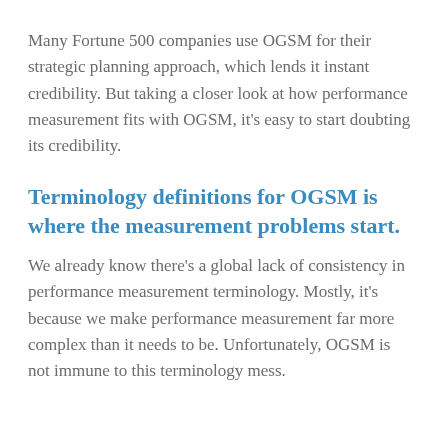Many Fortune 500 companies use OGSM for their strategic planning approach, which lends it instant credibility. But taking a closer look at how performance measurement fits with OGSM, it's easy to start doubting its credibility.
Terminology definitions for OGSM is where the measurement problems start.
We already know there's a global lack of consistency in performance measurement terminology. Mostly, it's because we make performance measurement far more complex than it needs to be. Unfortunately, OGSM is not immune to this terminology mess.